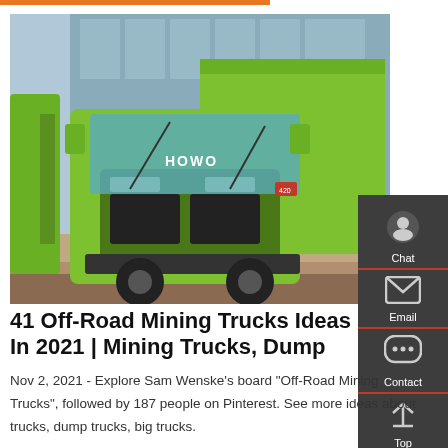[Figure (photo): Bright lime-green HOWO brand dump truck parked in front of a building with glass facade, front three-quarter view showing the truck cab and loaded bed.]
41 Off-Road Mining Trucks Ideas In 2021 | Mining Trucks, Dump
Nov 2, 2021 - Explore Sam Wenske's board "Off-Road Mining Trucks", followed by 187 people on Pinterest. See more ideas about trucks, dump trucks, big trucks.